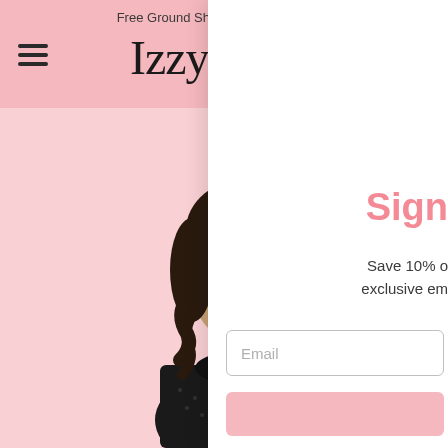Free Ground Shipping through USPS
[Figure (logo): Izzy & Gab script logo in cursive/handwritten style on pink header background]
[Figure (photo): Female model with short dark wavy hair wearing a black turtleneck dotted top, photographed against a pink background]
Sign
Save 10% o exclusive em
Email